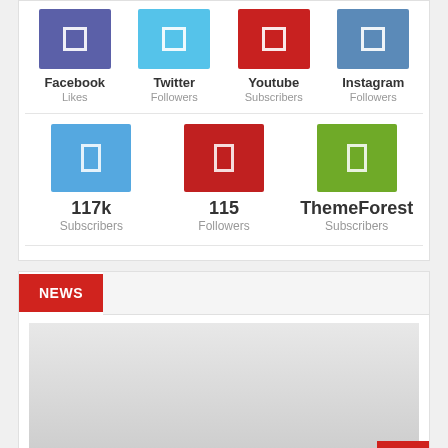[Figure (infographic): Social media stats widget showing Facebook Likes, Twitter Followers, Youtube Subscribers, Instagram Followers icons in a row, followed by a second row with 117k Subscribers, 115 Followers, and ThemeForest Subscribers]
Facebook
Likes
Twitter
Followers
Youtube
Subscribers
Instagram
Followers
117k
Subscribers
115
Followers
ThemeForest
Subscribers
NEWS
[Figure (photo): Gray placeholder image area for news article]